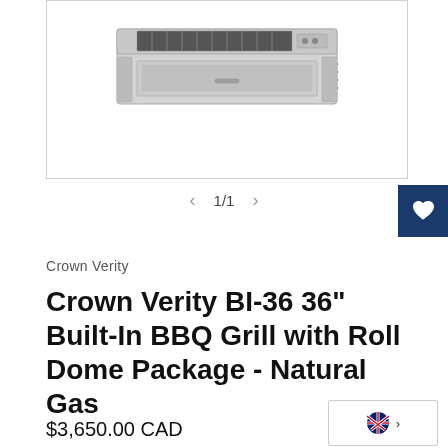[Figure (photo): Crown Verity BI-36 built-in BBQ grill product photo showing stainless steel grill unit in a white bordered box]
1/1
Crown Verity
Crown Verity BI-36 36" Built-In BBQ Grill with Roll Dome Package - Natural Gas
$3,650.00 CAD